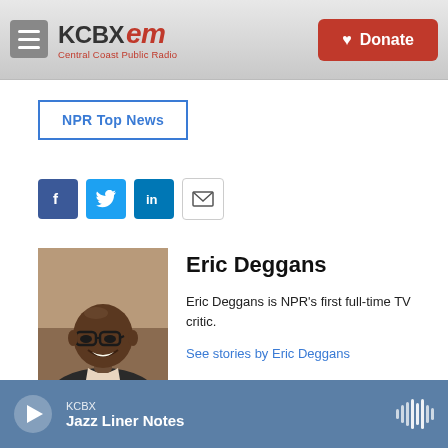[Figure (screenshot): KCBX FM Central Coast Public Radio website header with logo and Donate button]
NPR Top News
[Figure (infographic): Social sharing buttons: Facebook, Twitter, LinkedIn, Email]
[Figure (photo): Headshot photo of Eric Deggans, a Black man wearing glasses and smiling, in a suit]
Eric Deggans
Eric Deggans is NPR's first full-time TV critic.
See stories by Eric Deggans
KCBX  Jazz Liner Notes